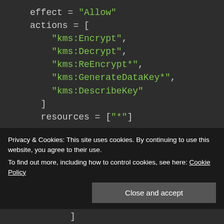[Figure (screenshot): Code screenshot showing Terraform/HCL configuration with effect, actions, resources, and principals blocks on a dark background. String values shown in green, other tokens in light gray.]
Privacy & Cookies: This site uses cookies. By continuing to use this website, you agree to their use.
To find out more, including how to control cookies, see here: Cookie Policy